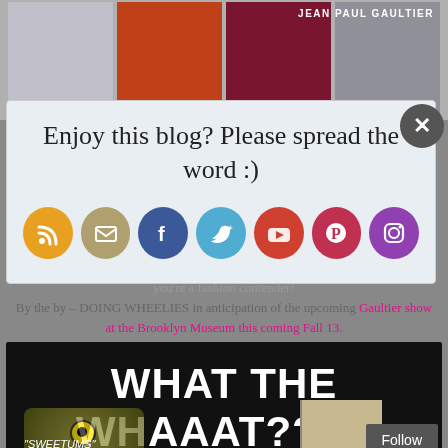[Figure (photo): Fashion photo strip showing multiple models in designer clothing with Jean Paul Gaultier label visible]
[Figure (screenshot): Blog sharing popup overlay with text 'Enjoy this blog? Please spread the word :)' and social media icon buttons for RSS, Email, Facebook, Twitter, YouTube, Pinterest, Instagram]
disheveled in your plaid flannel pajamas with THAT coat thrown over. Now, you're a fashion contender!
By the by – DOING WHEELIES in anticipation of the upcoming Gaultier show at the Brooklyn Museum this coming Fall 13.
[Figure (photo): Image with bold white text 'WHAT THE WHAAAT????' on black background, with creature labeled SWEETUMS and a portrait, plus a Follow button]